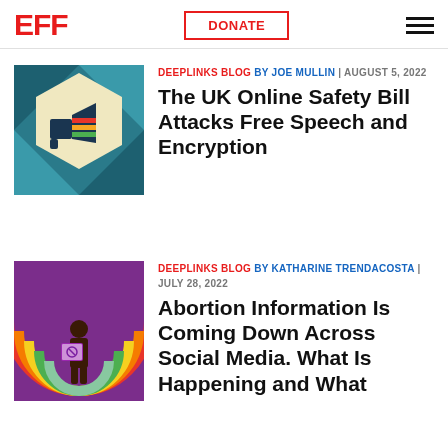EFF | DONATE | (menu)
[Figure (illustration): Graphic of a megaphone on a teal hexagonal geometric background]
DEEPLINKS BLOG BY JOE MULLIN | AUGUST 5, 2022
The UK Online Safety Bill Attacks Free Speech and Encryption
[Figure (illustration): Illustration of a silhouette person holding a sign under a rainbow with colorful stripes on a purple background]
DEEPLINKS BLOG BY KATHARINE TRENDACOSTA | JULY 28, 2022
Abortion Information Is Coming Down Across Social Media. What Is Happening and What